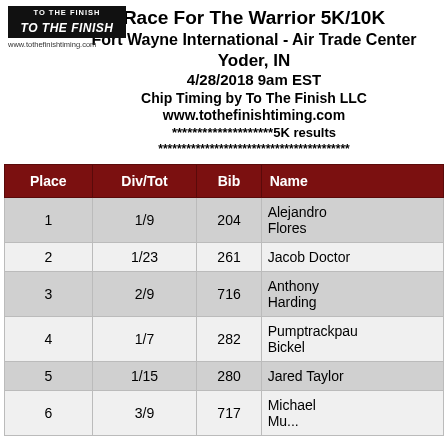Race For The Warrior 5K/10K
Fort Wayne International - Air Trade Center
Yoder, IN
4/28/2018 9am EST
Chip Timing by To The Finish LLC
www.tothefinishtiming.com
********************5K results
*****************************************
| Place | Div/Tot | Bib | Name |
| --- | --- | --- | --- |
| 1 | 1/9 | 204 | Alejandro Flores |
| 2 | 1/23 | 261 | Jacob Doctor |
| 3 | 2/9 | 716 | Anthony Harding |
| 4 | 1/7 | 282 | Pumptrackpau Bickel |
| 5 | 1/15 | 280 | Jared Taylor |
| 6 | 3/9 | 717 | Michael ... |